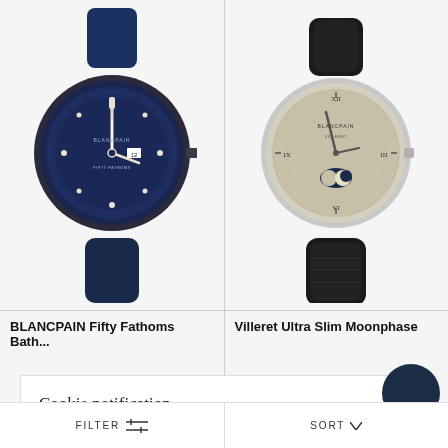[Figure (photo): BLANCPAIN Fifty Fathoms Bathyscaphe watch with blue dial and navy textile strap]
[Figure (photo): Villeret Ultra Slim Moonphase watch with grey/beige dial and black crocodile leather strap]
BLANCPAIN Fifty Fathoms Bath...
Villeret Ultra Slim Moonphase
Cookie notification
GASSAN uses standard functional cookies to make sure the website works as expected. Using personal cookies we ensure only relevant ads reach you. Through analytical cookies we gain insight into how you use our website and how efficient our marketing is
Here you can read more and specify your preferences
ACCEPT ALL
FILTER   SORT